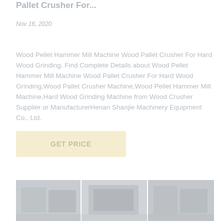Pallet Crusher For...
Nov 16, 2020
Wood Pellet Hammer Mill Machine Wood Pallet Crusher For Hard Wood Grinding, Find Complete Details about Wood Pellet Hammer Mill Machine Wood Pallet Crusher For Hard Wood Grinding,Wood Pallet Crusher Machine,Wood Pellet Hammer Mill Machine,Hard Wood Grinding Machine from Wood Crusher Supplier or ManufacturerHenan Shanjie Machinery Equipment Co., Ltd.
[Figure (other): GET PRICE button (call to action, light yellow/cream background)]
[Figure (photo): Multiple product photos of wood pallet crusher / hammer mill machines shown in a horizontal row, appearing faded/watermarked]